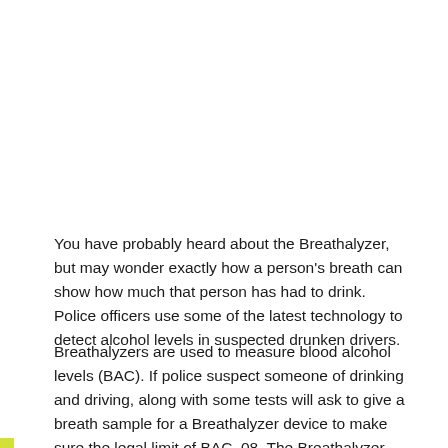You have probably heard about the Breathalyzer, but may wonder exactly how a person's breath can show how much that person has had to drink. Police officers use some of the latest technology to detect alcohol levels in suspected drunken drivers.
Breathalyzers are used to measure blood alcohol levels (BAC). If police suspect someone of drinking and driving, along with some tests will ask to give a breath sample for a Breathalyzer device to make sure the legal limit of BAC .08. The Breathalyzer uses that air to measure your blood alcohol level. The actual ratio of breath alcohol to blood alcohol is said to be 2,100:1 – meaning that 2,100 milliliters of air from your lungs has the same amount of alcohol as 1 ml of